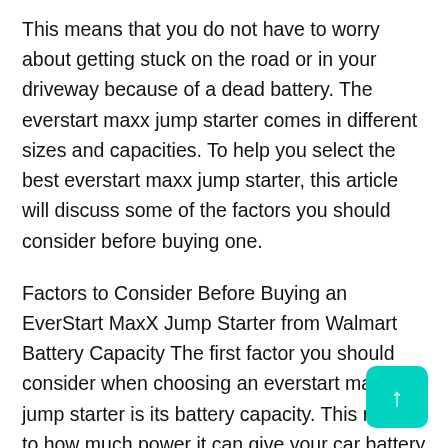This means that you do not have to worry about getting stuck on the road or in your driveway because of a dead battery. The everstart maxx jump starter comes in different sizes and capacities. To help you select the best everstart maxx jump starter, this article will discuss some of the factors you should consider before buying one.
Factors to Consider Before Buying an EverStart MaxX Jump Starter from Walmart Battery Capacity The first factor you should consider when choosing an everstart maxx jump starter is its battery capacity. This refers to how much power it can give your car battery at any given time. High-capacity jump starters are more expensive than low-capacity ones but they also provide better performance because they can start bigger engines with less effort. If you want to buy an everstart